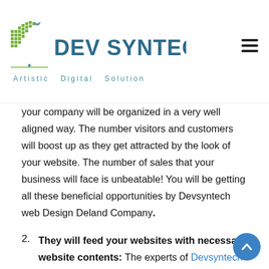Dev Syntech Inc. — Artistic Digital Solution
your company will be organized in a very well aligned way. The number visitors and customers will boost up as they get attracted by the look of your website. The number of sales that your business will face is unbeatable! You will be getting all these beneficial opportunities by Devsyntech web Design Deland Company.
2. They will feed your websites with necessary website contents: The experts of Devsyntech Web design Deland team will be adding informative articles, pictures of products and